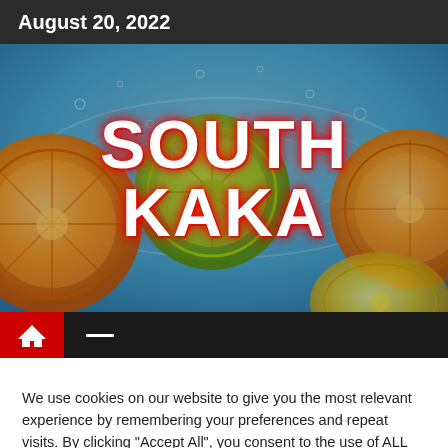August 20, 2022
[Figure (photo): Background photo of citrus fruits (oranges, limes, lemons) splashing in water with the large bold red text overlay 'SOUTH KAKA']
SOUTH KAKA
We use cookies on our website to give you the most relevant experience by remembering your preferences and repeat visits. By clicking "Accept All", you consent to the use of ALL the cookies. However, you may visit "Cookie Settings" to provide a controlled consent.
Cookie Settings | Accept All